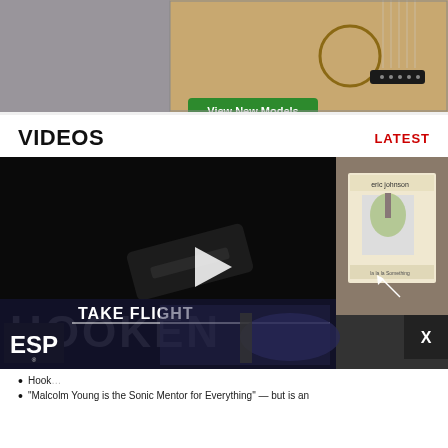[Figure (photo): Top banner advertisement showing an acoustic guitar with a 'View New Models' green button overlay]
VIDEOS
LATEST
[Figure (screenshot): Video thumbnail showing a dark image with a play button in the center, text 'HOOKEN' at the bottom, and an ESP 'Take Flight' guitar advertisement overlay. A side panel shows an Eric Johnson album cover.]
Hook
"Malcolm Young is the Sonic Mentor for Everything" — but is an